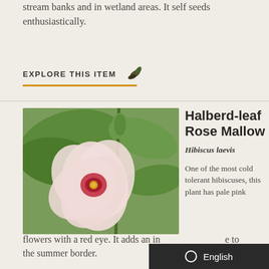stream banks and in wetland areas. It self seeds enthusiastically.
EXPLORE THIS ITEM
[Figure (photo): Close-up photo of a pale pink Hibiscus laevis (Halberd-leaf Rose Mallow) flower with a red center, surrounded by green foliage and a bud.]
Halberd-leaf Rose Mallow
Hibiscus laevis
One of the most cold tolerant hibiscuses, this plant has pale pink flowers with a red eye. It adds an interesting presence to the summer border.
flowers with a red eye. It adds an in to the summer border.